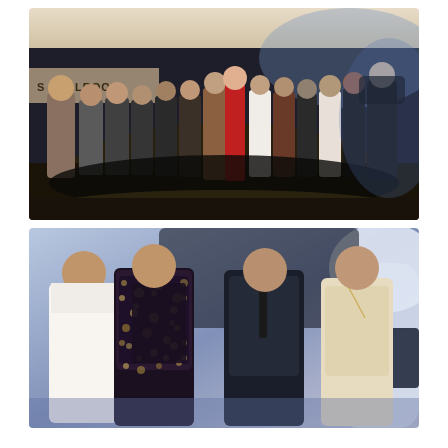[Figure (photo): Group photo of approximately 15 people standing together in a hotel ballroom lobby. There is a sign reading 'BALLROOM' partially visible on the left wall. The group stands on a dark circular floor mat. One person in the center is wearing a bright red outfit, others are dressed in various casual and formal attire. The background has warm lighting.]
[Figure (photo): Photo of four young men posing together at what appears to be an event. One man wears a dark floral/brocade blazer vest, another wears a suit with tie, one wears a cream/beige blazer, and one wears a white shirt. In the background is a sign partially reading 'DIREC' and 'CUT'. The setting has blue and white lighting.]